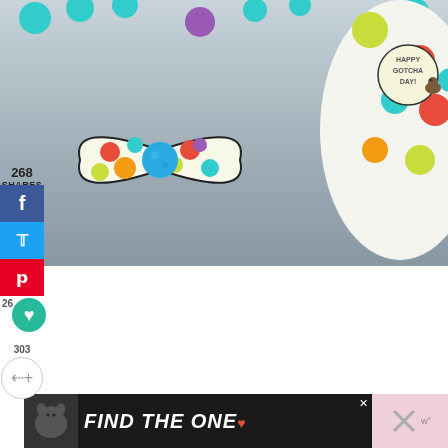[Figure (photo): Photo of a colorful polka-dot bowtie with a blue pom pom center, next to a 'Happy Gotcha Day!' party hat, surrounded by colorful pom pom balls on a gray surface]
268
SHARES
[Figure (infographic): Social share sidebar with Facebook, Twitter, Pinterest buttons and heart/share icons showing counts 268 shares, 26 likes, 303 shares]
[Figure (photo): Advertisement banner: dark background with dog image and text 'FIND THE ONE' with heart icon and close buttons]